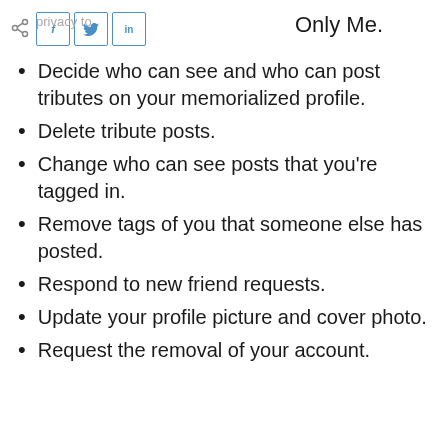privacy to Only Me.
[Figure (other): Share icon and social media buttons (Facebook, Twitter, LinkedIn)]
Decide who can see and who can post tributes on your memorialized profile.
Delete tribute posts.
Change who can see posts that you're tagged in.
Remove tags of you that someone else has posted.
Respond to new friend requests.
Update your profile picture and cover photo.
Request the removal of your account.